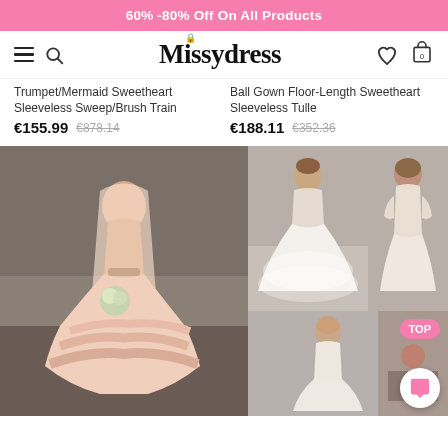60% -80% Off On All Products
[Figure (screenshot): Missydress website navigation bar with hamburger menu, search icon, Missydress logo, heart/wishlist icon, and cart icon showing 0 items]
Trumpet/Mermaid Sweetheart Sleeveless Sweep/Brush Train
€155.99  €878.14
Ball Gown Floor-Length Sweetheart Sleeveless Tulle
€188.11  €352.36
[Figure (photo): Three wedding dress photos: left - large photo of bride in pink ruffled mermaid gown holding flowers; top right - bride in white ball gown with sheer neckline; bottom right split - back of bride in lace dress (top) and another bride in gown (bottom) with TOP button and chat button]